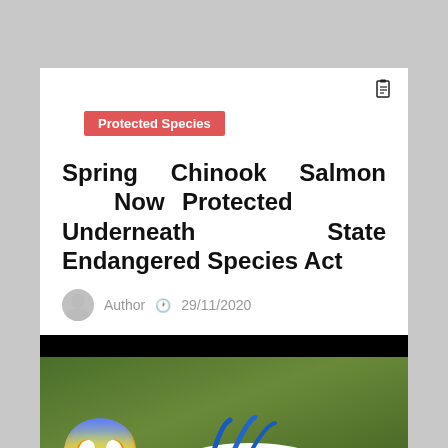Protected Species
Spring Chinook Salmon Now Protected Underneath State Endangered Species Act
Author  29/11/2020
[Figure (photo): A white and blue bird or animal lying in green grass/foliage, with a large shocked face emoji overlaid on the left side of the image. The background has a black bar at the top.]